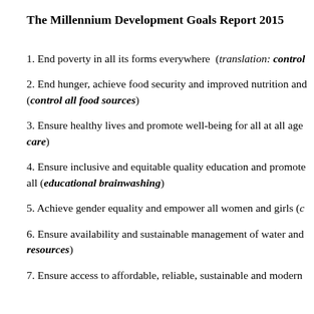The Millennium Development Goals Report 2015
1. End poverty in all its forms everywhere  (translation: control…
2. End hunger, achieve food security and improved nutrition and… (control all food sources)
3. Ensure healthy lives and promote well-being for all at all age… care)
4. Ensure inclusive and equitable quality education and promote… all (educational brainwashing)
5. Achieve gender equality and empower all women and girls (c…
6. Ensure availability and sustainable management of water and… resources)
7. Ensure access to affordable, reliable, sustainable and modern…